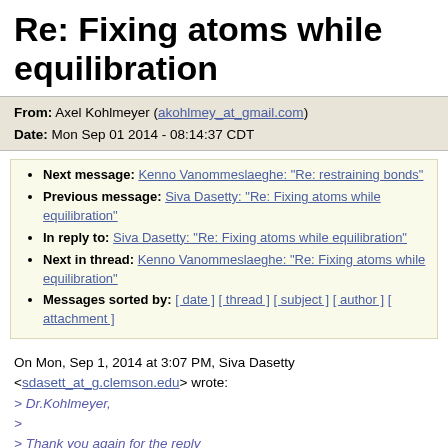Re: Fixing atoms while equilibration
From: Axel Kohlmeyer (akohlmey_at_gmail.com)
Date: Mon Sep 01 2014 - 08:14:37 CDT
Next message: Kenno Vanommeslaeghe: "Re: restraining bonds"
Previous message: Siva Dasetty: "Re: Fixing atoms while equilibration"
In reply to: Siva Dasetty: "Re: Fixing atoms while equilibration"
Next in thread: Kenno Vanommeslaeghe: "Re: Fixing atoms while equilibration"
Messages sorted by: [ date ] [ thread ] [ subject ] [ author ] [ attachment ]
On Mon, Sep 1, 2014 at 3:07 PM, Siva Dasetty <sdasett_at_g.clemson.edu> wrote:
> Dr.Kohlmeyer,
>
> Thank you again for the reply